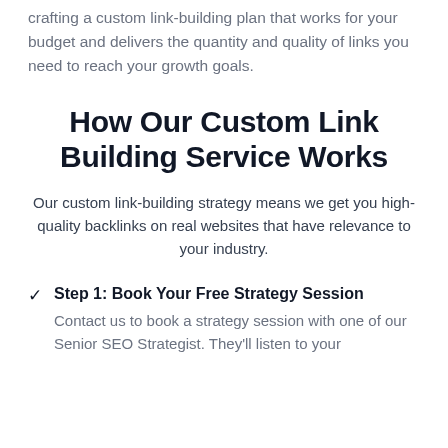crafting a custom link-building plan that works for your budget and delivers the quantity and quality of links you need to reach your growth goals.
How Our Custom Link Building Service Works
Our custom link-building strategy means we get you high-quality backlinks on real websites that have relevance to your industry.
Step 1: Book Your Free Strategy Session — Contact us to book a strategy session with one of our Senior SEO Strategist. They'll listen to your